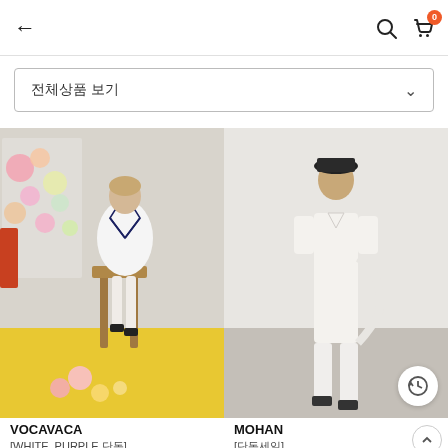← navigation bar with search and cart icon (badge: 0)
전체상품 보기
[Figure (photo): Fashion product photo: woman wearing a white sailor-collar midi dress with navy stripes, posed seated on a chair, with flowers and yellow floor in background. Brand: VOCAVACA.]
[Figure (photo): Fashion product photo: woman wearing a white shirt dress with collar, walking. Minimalist white/grey background. Brand: MOHAN.]
VOCAVACA
[WHITE, PURPLE 단독]
[단독]Sailor Marine Dress_4color
MOHAN
[단독세일]
TWR STRIPED SHIRT DRESS_2 COL...